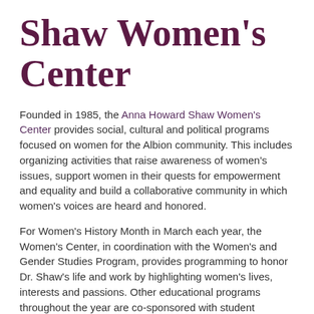Shaw Women's Center
Founded in 1985, the Anna Howard Shaw Women's Center provides social, cultural and political programs focused on women for the Albion community. This includes organizing activities that raise awareness of women's issues, support women in their quests for empowerment and equality and build a collaborative community in which women's voices are heard and honored.
For Women's History Month in March each year, the Women's Center, in coordination with the Women's and Gender Studies Program, provides programming to honor Dr. Shaw's life and work by highlighting women's lives, interests and passions. Other educational programs throughout the year are co-sponsored with student organizations that share mutual interests. There are formal and informal ways for students to be involved in and benefit from the Center's activities. Student involvement is essential for the Women's Center to be successful.
Women's Center staff educate the Albion College community